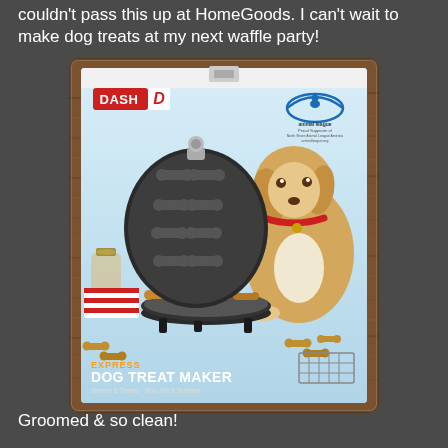couldn't pass this up at HomeGoods. I can't wait to make dog treats at my next waffle party!
[Figure (photo): Product photo of the Dash Express Dog Treat Maker box, showing a waffle iron with bone-shaped molds open, dog bone-shaped treats on the lower plate, a golden/white dog in the background, and the Dash brand logo. Box text reads: EXPRESS DOG TREAT MAKER, Makes 8 Treats - Non-Stick Surface. Set against a wood-textured brown frame.]
Groomed & so clean!